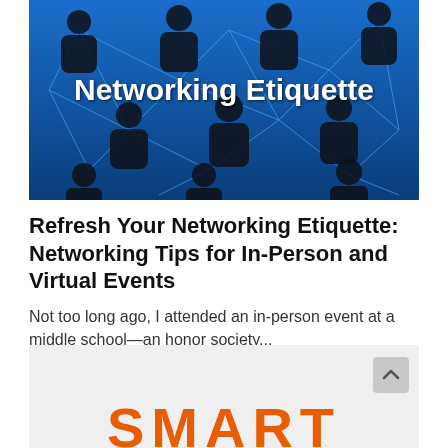[Figure (illustration): Header image showing silhouetted human figures connected by a blue network of lines on a blue background, with the white bold text 'Networking Etiquette' overlaid in the upper-middle area.]
Refresh Your Networking Etiquette: Networking Tips for In-Person and Virtual Events
Not too long ago, I attended an in-person event at a middle school—an honor society...
[Figure (other): Light grey card area partially visible at the bottom of the page, containing a scroll-to-top button (chevron up icon) at the right, and the beginning of large orange bold letters 'SMART' at the bottom.]